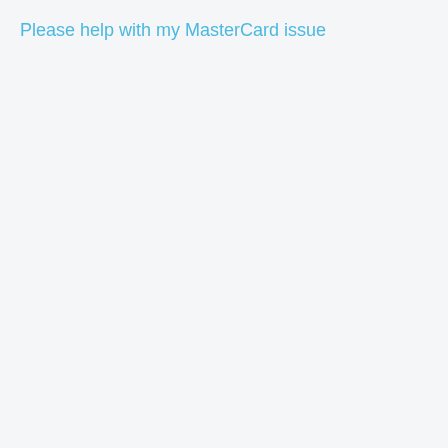Please help with my MasterCard issue